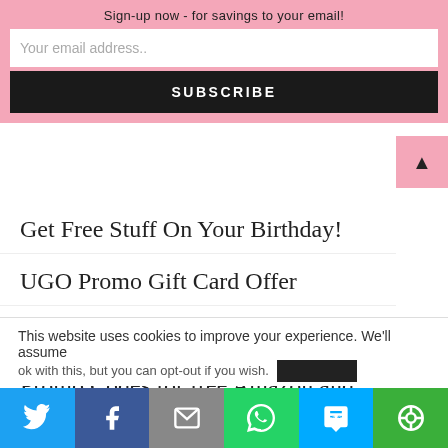Sign-up now - for savings to your email!
Your email address..
SUBSCRIBE
Get Free Stuff On Your Birthday!
UGO Promo Gift Card Offer
The Best Money Apps for Canadians
Promo Codes for free Amazon and Chapters Gift Cards with the UGO App
This website uses cookies to improve your experience. We'll assume
[Figure (screenshot): Social sharing bar with Twitter, Facebook, Email, WhatsApp, SMS, and another share icon buttons]